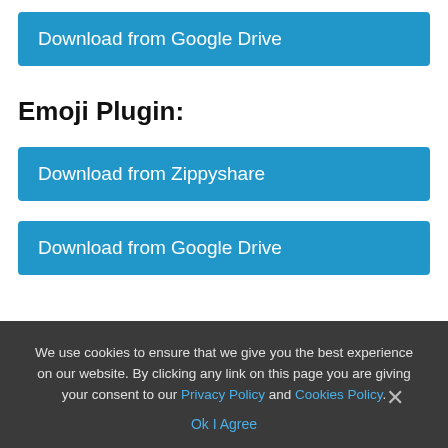Download from Google Drive
Emoji Plugin:
Download from Zippyshare
Download from Google Drive
We use cookies to ensure that we give you the best experience on our website. By clicking any link on this page you are giving your consent to our Privacy Policy and Cookies Policy. Ok I Agree